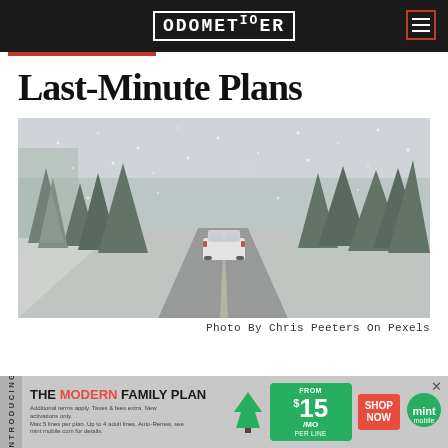ODOMETER IO
Last-Minute Plans
[Figure (photo): A white SUV driving on a snowy winter road lined with snow-covered evergreen trees, snow falling, overcast sky.]
Photo By Chris Peeters On Pexels
[Figure (infographic): Mint Mobile advertisement banner: 'Introducing THE MODERN FAMILY PLAN FROM $15/MO PER LINE SHOP NOW' with Mint Mobile logo and fine print.]